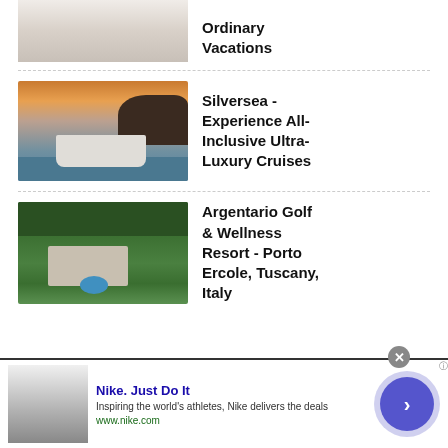Ordinary Vacations
Silversea - Experience All-Inclusive Ultra-Luxury Cruises
Argentario Golf & Wellness Resort - Porto Ercole, Tuscany, Italy
[Figure (infographic): Advertisement banner: Nike. Just Do It. Inspiring the world's athletes, Nike delivers the deals. www.nike.com]
Nike. Just Do It
Inspiring the world's athletes, Nike delivers the deals
www.nike.com